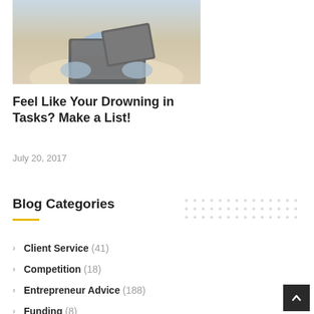[Figure (photo): Person in blue clothing sitting with a laptop and tablet, viewed from above]
Feel Like Your Drowning in Tasks? Make a List!
July 20, 2017
Blog Categories
Client Service (41)
Competition (18)
Entrepreneur Advice (188)
Funding (8)